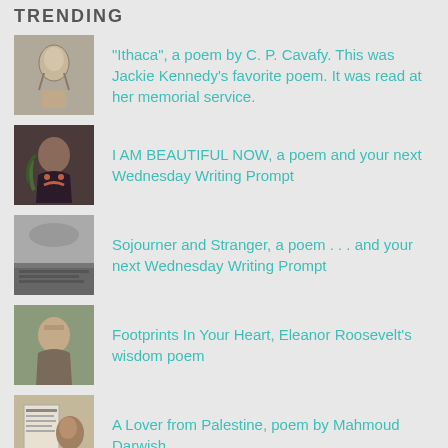TRENDING
"Ithaca", a poem by C. P. Cavafy. This was Jackie Kennedy's favorite poem. It was read at her memorial service.
I AM BEAUTIFUL NOW, a poem and your next Wednesday Writing Prompt
Sojourner and Stranger, a poem . . . and your next Wednesday Writing Prompt
Footprints In Your Heart, Eleanor Roosevelt's wisdom poem
A Lover from Palestine, poem by Mahmoud Darwish